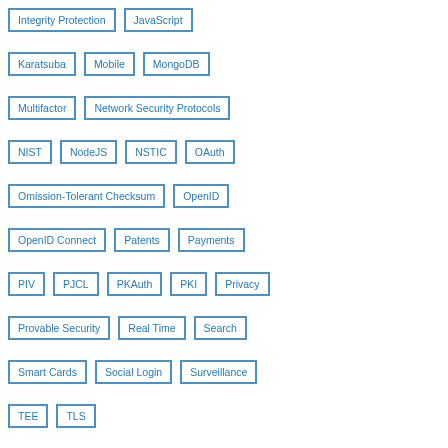Integrity Protection
JavaScript
Karatsuba
Mobile
MongoDB
Multifactor
Network Security Protocols
NIST
NodeJS
NSTIC
OAuth
Omission-Tolerant Checksum
OpenID
OpenID Connect
Patents
Payments
PIV
PJCL
PKAuth
PKI
Privacy
Provable Security
Real Time
Search
Smart Cards
Social Login
Surveillance
TEE
TLS